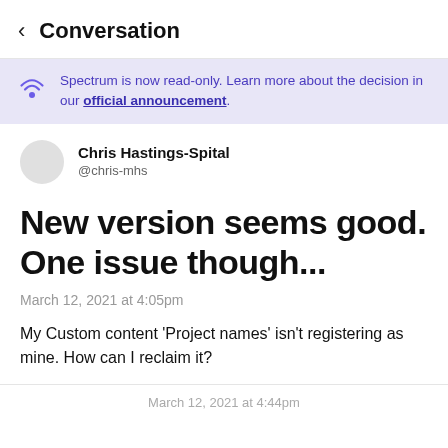< Conversation
Spectrum is now read-only. Learn more about the decision in our official announcement.
Chris Hastings-Spital
@chris-mhs
New version seems good. One issue though...
March 12, 2021 at 4:05pm
My Custom content 'Project names' isn't registering as mine. How can I reclaim it?
March 12, 2021 at 4:44pm